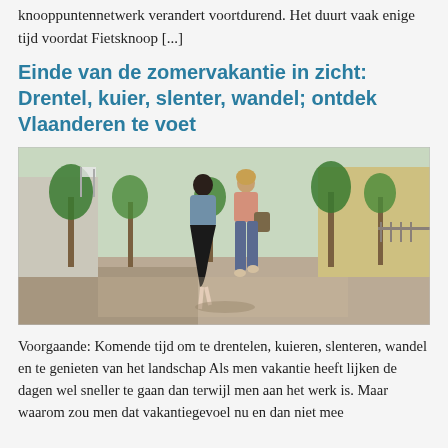knooppuntennetwerk verandert voortdurend. Het duurt vaak enige tijd voordat Fietsknoop [...]
Einde van de zomervakantie in zicht: Drentel, kuier, slenter, wandel; ontdek Vlaanderen te voet
[Figure (photo): Two people walking away from the camera down a wide urban pedestrian street lined with trees and buildings. One person wears a dark skirt and denim jacket, the other wears light trousers and carries a bag.]
Voorgaande: Komende tijd om te drentelen, kuieren, slenteren, wandel en te genieten van het landschap Als men vakantie heeft lijken de dagen wel sneller te gaan dan terwijl men aan het werk is. Maar waarom zou men dat vakantiegevoel nu en dan niet mee...